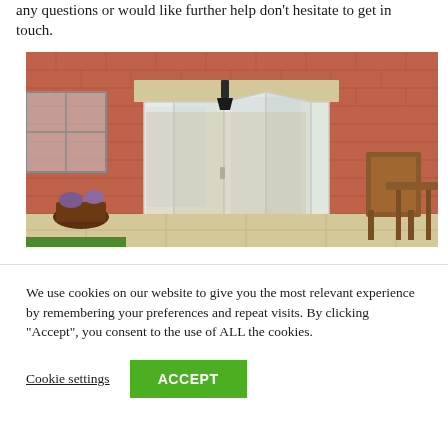any questions or would like further help don't hesitate to get in touch.
[Figure (photo): Exterior photo of a brick house showing white bi-fold or French doors open onto a stone patio, with garden furniture (wooden chairs and table) on the right, and flower pots on the left.]
We use cookies on our website to give you the most relevant experience by remembering your preferences and repeat visits. By clicking "Accept", you consent to the use of ALL the cookies.
Cookie settings
ACCEPT